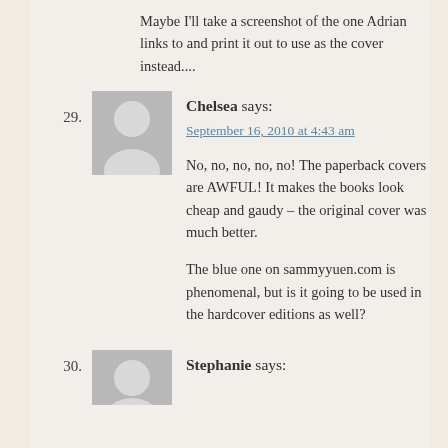Maybe I'll take a screenshot of the one Adrian links to and print it out to use as the cover instead....
29. Chelsea says:
September 16, 2010 at 4:43 am
No, no, no, no, no! The paperback covers are AWFUL! It makes the books look cheap and gaudy – the original cover was much better.
The blue one on sammyyuen.com is phenomenal, but is it going to be used in the hardcover editions as well?
30. Stephanie says: